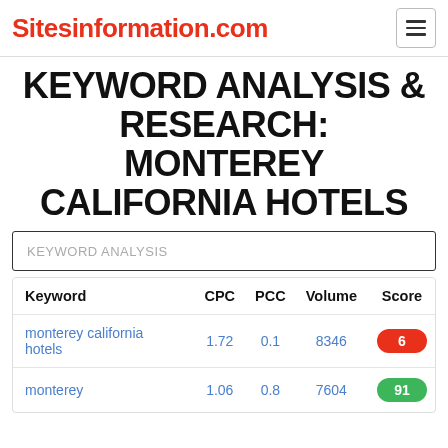Sitesinformation.com
KEYWORD ANALYSIS & RESEARCH: MONTEREY CALIFORNIA HOTELS
KEYWORD ANALYSIS
| Keyword | CPC | PCC | Volume | Score |
| --- | --- | --- | --- | --- |
| monterey california hotels | 1.72 | 0.1 | 8346 | 6 |
| monterey | 1.06 | 0.8 | 7604 | 91 |